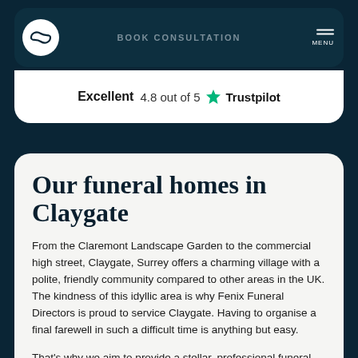BOOK CONSULTATION | MENU
Excellent  4.8 out of 5  ★ Trustpilot
Our funeral homes in Claygate
From the Claremont Landscape Garden to the commercial high street, Claygate, Surrey offers a charming village with a polite, friendly community compared to other areas in the UK. The kindness of this idyllic area is why Fenix Funeral Directors is proud to service Claygate. Having to organise a final farewell in such a difficult time is anything but easy.
That's why we aim to provide a stellar, professional funeral service you can be grateful for - with no third party costs or hidden fees. This helps you to make the right decisions in difficult circumstances.